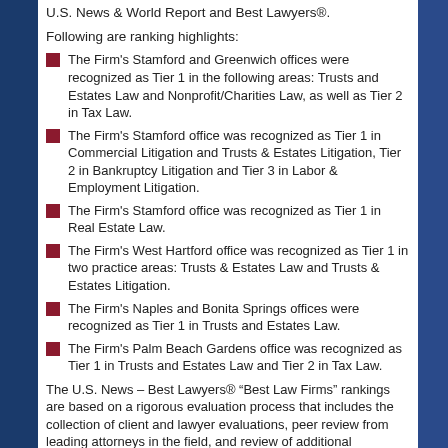U.S. News & World Report and Best Lawyers®.
Following are ranking highlights:
The Firm's Stamford and Greenwich offices were recognized as Tier 1 in the following areas: Trusts and Estates Law and Nonprofit/Charities Law, as well as Tier 2 in Tax Law.
The Firm's Stamford office was recognized as Tier 1 in Commercial Litigation and Trusts & Estates Litigation, Tier 2 in Bankruptcy Litigation and Tier 3 in Labor & Employment Litigation.
The Firm's Stamford office was recognized as Tier 1 in Real Estate Law.
The Firm's West Hartford office was recognized as Tier 1 in two practice areas: Trusts & Estates Law and Trusts & Estates Litigation.
The Firm's Naples and Bonita Springs offices were recognized as Tier 1 in Trusts and Estates Law.
The Firm's Palm Beach Gardens office was recognized as Tier 1 in Trusts and Estates Law and Tier 2 in Tax Law.
The U.S. News – Best Lawyers® “Best Law Firms” rankings are based on a rigorous evaluation process that includes the collection of client and lawyer evaluations, peer review from leading attorneys in the field, and review of additional